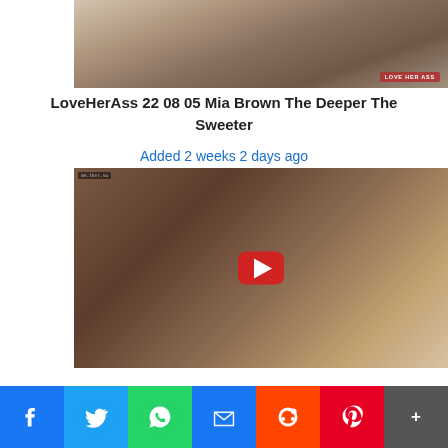[Figure (screenshot): Video thumbnail showing two people close together, with 'LOVE HER ASS' watermark in bottom right corner]
LoveHerAss 22 08 05 Mia Brown The Deeper The Sweeter
Added 2 weeks 2 days ago
[Figure (screenshot): Video thumbnail with a woman on a couch with a play button overlay in the center]
[Figure (infographic): Social media share bar with Facebook, Twitter, WhatsApp, Email, Reddit, Pinterest, and More buttons]